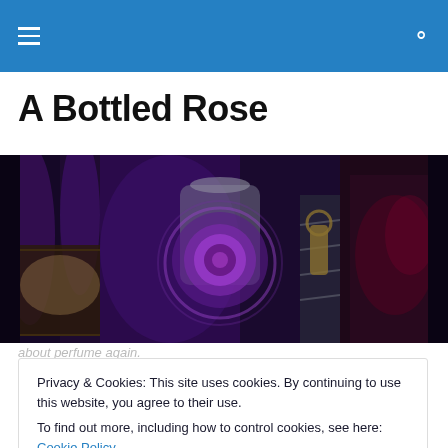A Bottled Rose — navigation bar with hamburger menu and search icon
A Bottled Rose
[Figure (photo): Wide banner image with dark purple/gothic theme showing a glowing purple rose in a glass bottle, dark draperies, candlelight scenes, and fantasy imagery]
Privacy & Cookies: This site uses cookies. By continuing to use this website, you agree to their use.
To find out more, including how to control cookies, see here: Cookie Policy
[Close and accept button]
about perfume again.